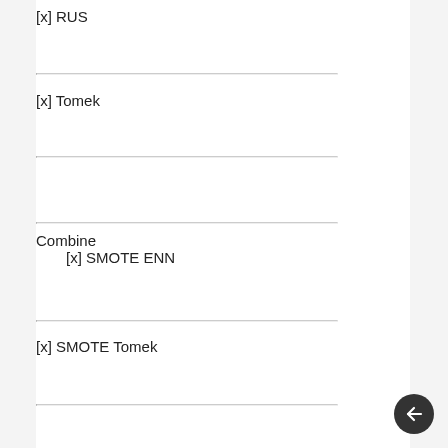[x] RUS
[x] Tomek
Combine
    [x] SMOTE ENN
[x] SMOTE Tomek